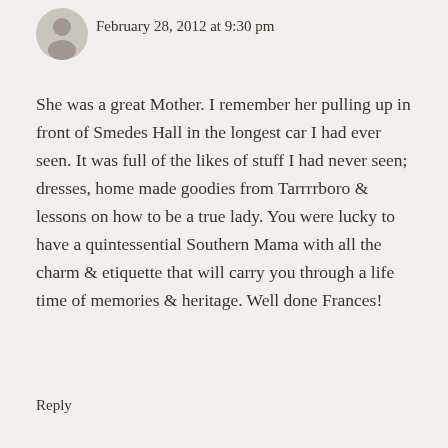[Figure (illustration): Gray avatar/silhouette icon of a person]
February 28, 2012 at 9:30 pm
She was a great Mother. I remember her pulling up in front of Smedes Hall in the longest car I had ever seen. It was full of the likes of stuff I had never seen; dresses, home made goodies from Tarrrrboro & lessons on how to be a true lady. You were lucky to have a quintessential Southern Mama with all the charm & etiquette that will carry you through a life time of memories & heritage. Well done Frances!
Reply